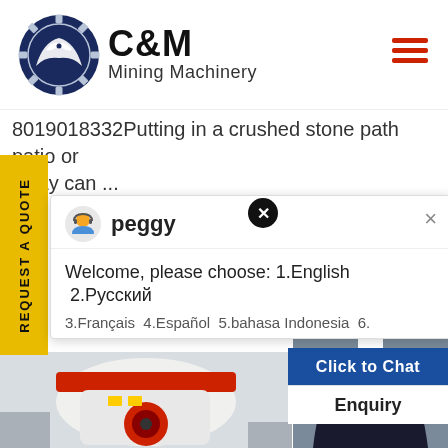[Figure (logo): C&M Mining Machinery logo with eagle/gear icon in dark navy circle, company name in bold black text]
8019018332Putting in a crushed stone path patio or eway can ...
[Figure (screenshot): Chat popup with avatar of Peggy, welcome message in English and Russian, partially visible language options]
[Figure (photo): Mining machine with red and white components, industrial equipment photo]
[Figure (photo): Customer support agent woman with headset, smiling, with click to chat and enquiry buttons]
REQUEST A QUOTE
peggy
Welcome, please choose: 1.English  2.Русский
3.Français  4.Español  5.bahasa Indonesia  6....
Click to Chat
Enquiry